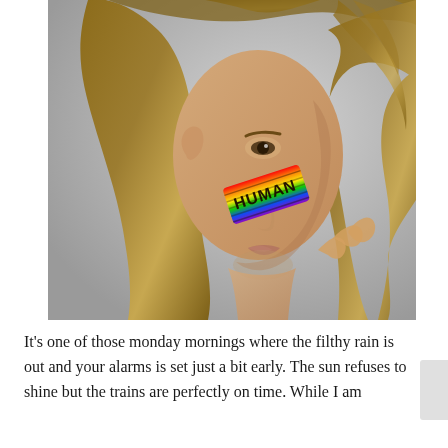[Figure (photo): Close-up portrait of a young man with long wavy brown hair, looking to the side with his hand raised near his face. He has rainbow-colored face paint on his cheek with the word 'HUMAN' written on it in black lettering. Light gray background.]
It's one of those monday mornings where the filthy rain is out and your alarms is set just a bit early. The sun refuses to shine but the trains are perfectly on time. While I am